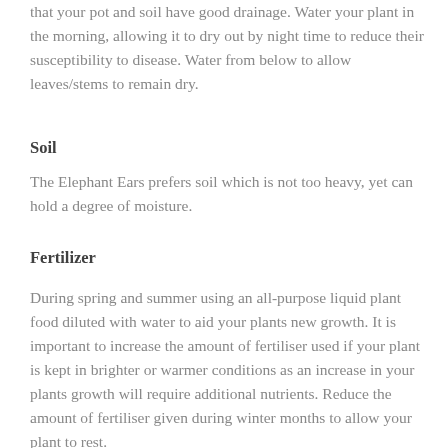that your pot and soil have good drainage. Water your plant in the morning, allowing it to dry out by night time to reduce their susceptibility to disease. Water from below to allow leaves/stems to remain dry.
Soil
The Elephant Ears prefers soil which is not too heavy, yet can hold a degree of moisture.
Fertilizer
During spring and summer using an all-purpose liquid plant food diluted with water to aid your plants new growth. It is important to increase the amount of fertiliser used if your plant is kept in brighter or warmer conditions as an increase in your plants growth will require additional nutrients. Reduce the amount of fertiliser given during winter months to allow your plant to rest.